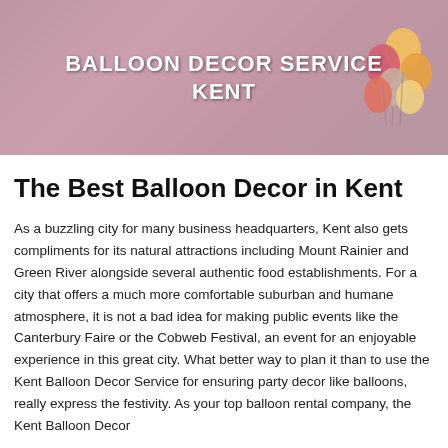[Figure (photo): Banner image showing balloon decor with pink flower wall and balloon sculptures, overlaid with white bold text reading 'BALLOON DECOR SERVICE KENT']
The Best Balloon Decor in Kent
As a buzzling city for many business headquarters, Kent also gets compliments for its natural attractions including Mount Rainier and Green River alongside several authentic food establishments. For a city that offers a much more comfortable suburban and humane atmosphere, it is not a bad idea for making public events like the Canterbury Faire or the Cobweb Festival, an event for an enjoyable experience in this great city. What better way to plan it than to use the Kent Balloon Decor Service for ensuring party decor like balloons, really express the festivity. As your top balloon rental company, the Kent Balloon Decor